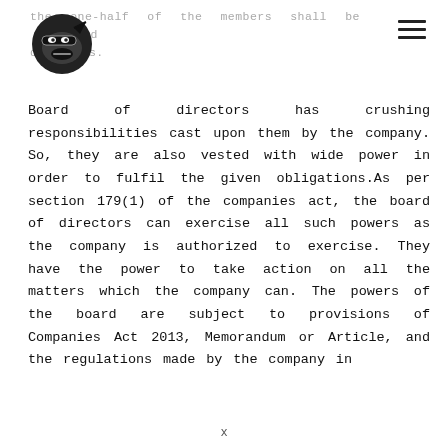the one-half of the members shall be independent directors.
[Figure (logo): Ninja face logo icon in black and white]
Board of directors has crushing responsibilities cast upon them by the company. So, they are also vested with wide power in order to fulfil the given obligations.As per section 179(1) of the companies act, the board of directors can exercise all such powers as the company is authorized to exercise. They have the power to take action on all the matters which the company can. The powers of the board are subject to provisions of Companies Act 2013, Memorandum or Article, and the regulations made by the company in
x